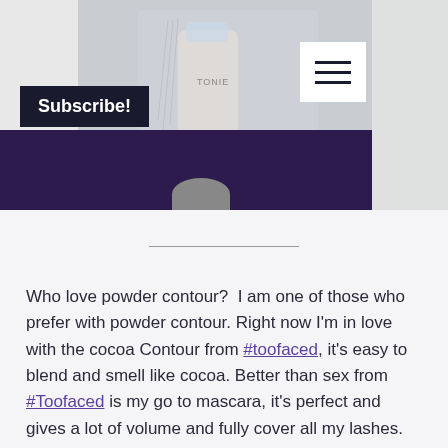[Figure (photo): Product photo showing beauty/cosmetics items on a light background, with a hamburger menu icon (three horizontal lines) in a white box overlay, and a dark navy 'Subscribe!' button on the left side. A dark purple banner overlays the lower portion of the image.]
Who love powder contour?  I am one of those who prefer with powder contour. Right now I'm in love with the cocoa Contour from #toofaced, it's easy to blend and smell like cocoa. Better than sex from #Toofaced is my go to mascara, it's perfect and gives a lot of volume and fully cover all my lashes. It's